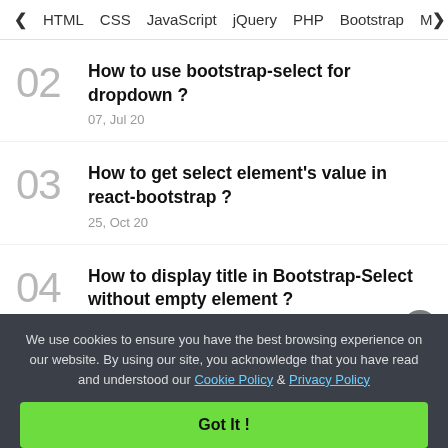< HTML  CSS  JavaScript  jQuery  PHP  Bootstrap  M>
02
How to use bootstrap-select for dropdown ?
07, Jul 20
03
How to get select element's value in react-bootstrap ?
25, Oct 20
04
How to display title in Bootstrap-Select without empty element ?
08, Apr 21
We use cookies to ensure you have the best browsing experience on our website. By using our site, you acknowledge that you have read and understood our Cookie Policy & Privacy Policy
Got It !